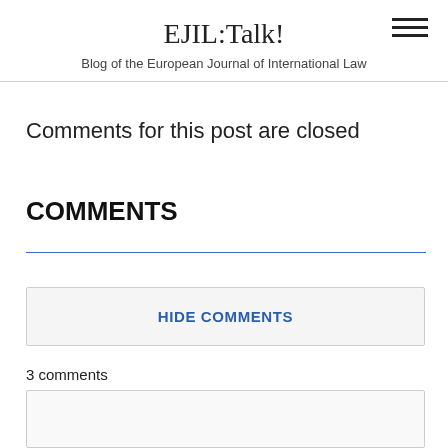EJIL:Talk!
Blog of the European Journal of International Law
Comments for this post are closed
COMMENTS
HIDE COMMENTS
3 comments
Flo says